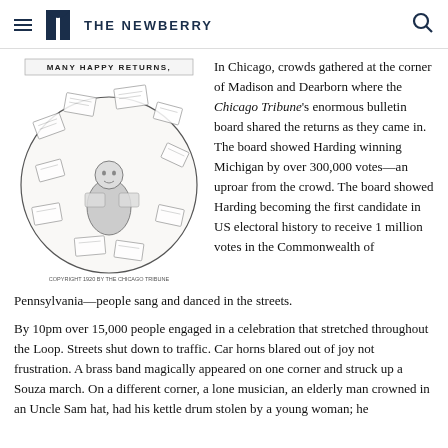THE NEWBERRY
[Figure (illustration): A circular cartoon illustration titled 'MANY HAPPY RETURNS' showing a man surrounded by numerous telegrams and papers with election return results.]
In Chicago, crowds gathered at the corner of Madison and Dearborn where the Chicago Tribune's enormous bulletin board shared the returns as they came in. The board showed Harding winning Michigan by over 300,000 votes—an uproar from the crowd. The board showed Harding becoming the first candidate in US electoral history to receive 1 million votes in the Commonwealth of Pennsylvania—people sang and danced in the streets.
By 10pm over 15,000 people engaged in a celebration that stretched throughout the Loop. Streets shut down to traffic. Car horns blared out of joy not frustration. A brass band magically appeared on one corner and struck up a Souza march. On a different corner, a lone musician, an elderly man crowned in an Uncle Sam hat, had his kettle drum stolen by a young woman; he